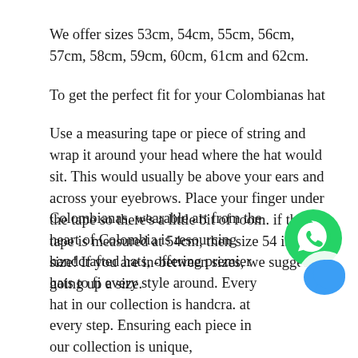We offer sizes 53cm, 54cm, 55cm, 56cm, 57cm, 58cm, 59cm, 60cm, 61cm and 62cm.
To get the perfect fit for your Colombianas hat
Use a measuring tape or piece of string and wrap it around your head where the hat would sit. This would usually be above your ears and across your eyebrows. Place your finger under the tape so there's a little bit of room. if the tape is measured at 54cm, then size 54 is your size! If you are in-between sizes, we suggest going up a size.
[Figure (logo): WhatsApp green circle icon with phone handset symbol]
[Figure (logo): Blue speech bubble chat icon on white circle]
Colombianas, wearable art from the heart of Colombia is resourcing handcrafted hats, offering premier hats to fi every style around. Every hat in our collection is handcra. at every step. Ensuring each piece in our collection is unique,